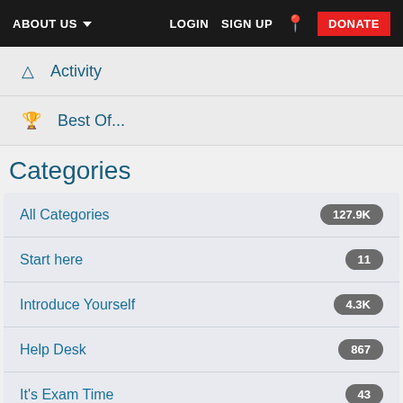ABOUT US  LOGIN  SIGN UP  DONATE
Activity
Best Of...
Categories
All Categories  127.9K
Start here  11
Introduce Yourself  4.3K
Help Desk  867
It's Exam Time  43
Health & Wellbeing  19.1K
COVID-19  115